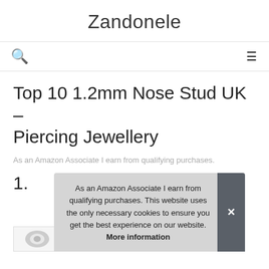Zandonele
Top 10 1.2mm Nose Stud UK – Piercing Jewellery
As an Amazon Associate I earn from qualifying purchases.
1.
As an Amazon Associate I earn from qualifying purchases. This website uses the only necessary cookies to ensure you get the best experience on our website. More information